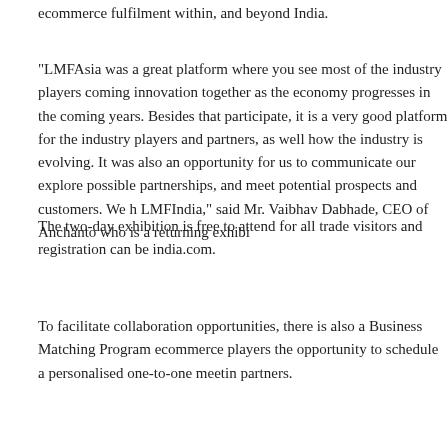ecommerce fulfilment within, and beyond India.
“LMFAsia was a great platform where you see most of the industry players coming innovation together as the economy progresses in the coming years. Besides that participate, it is a very good platform for the industry players and partners, as wel how the industry is evolving. It was also an opportunity for us to communicate our explore possible partnerships, and meet potential prospects and customers. We h LMFIndia,” said Mr. Vaibhav Dabhade, CEO of Anchanto who is a returning exhibi
The two-day exhibition is free to attend for all trade visitors and registration can be india.com.
To facilitate collaboration opportunities, there is also a Business Matching Progra ecommerce players the opportunity to schedule a personalised one-to-one meeti partners.
Filed in: Retail /SCM    Tags: featured
Share This Post
Tweet
Related Posts
Ashok Leyland
Mahindra Zor